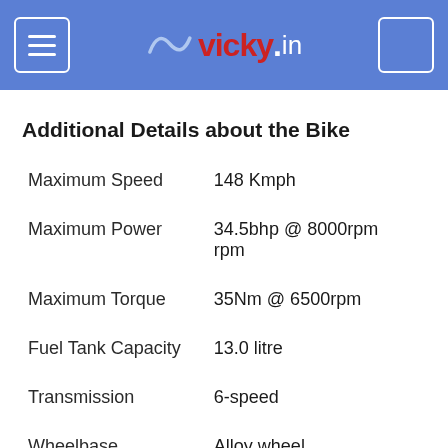vicky.in
Additional Details about the Bike
|  |  |
| --- | --- |
| Maximum Speed | 148 Kmph |
| Maximum Power | 34.5bhp @ 8000rpm rpm |
| Maximum Torque | 35Nm @ 6500rpm |
| Fuel Tank Capacity | 13.0 litre |
| Transmission | 6-speed |
| Wheelbase | Alloy wheel |